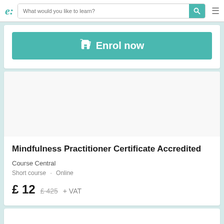e: [search bar] What would you like to learn?
[Figure (screenshot): Enrol now button with shopping cart icon on teal background]
Mindfulness Practitioner Certificate Accredited
Course Central
Short course · Online
£ 12  £ 425  + VAT